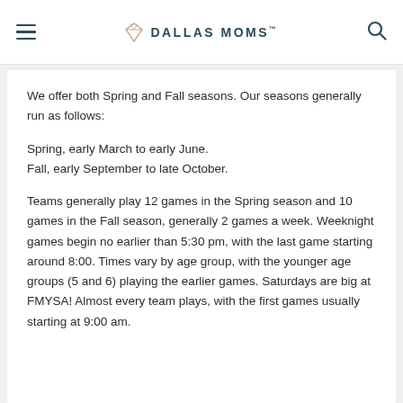DALLAS MOMS
We offer both Spring and Fall seasons. Our seasons generally run as follows:
Spring, early March to early June.
Fall, early September to late October.
Teams generally play 12 games in the Spring season and 10 games in the Fall season, generally 2 games a week. Weeknight games begin no earlier than 5:30 pm, with the last game starting around 8:00. Times vary by age group, with the younger age groups (5 and 6) playing the earlier games. Saturdays are big at FMYSA! Almost every team plays, with the first games usually starting at 9:00 am.